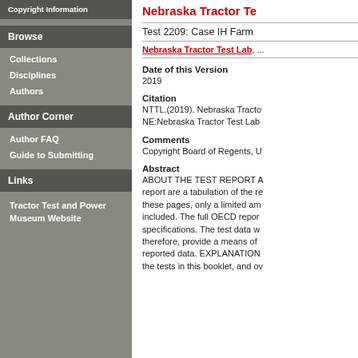Copyright Information
Browse
Collections
Disciplines
Authors
Author Corner
Author FAQ
Guide to Submitting
Links
Tractor Test and Power Museum Website
Nebraska Tractor Te...
Test 2209: Case IH Farm...
Nebraska Tractor Test Lab, ...
Date of this Version
2019
Citation
NTTL.(2019). Nebraska Tracto... NE:Nebraska Tractor Test Lab...
Comments
Copyright Board of Regents, U...
Abstract
ABOUT THE TEST REPORT A... report are a tabulation of the re... these pages, only a limited am... included. The full OECD repor... specifications. The test data w... therefore, provide a means of ... reported data. EXPLANATION... the tests in this booklet, and ov...